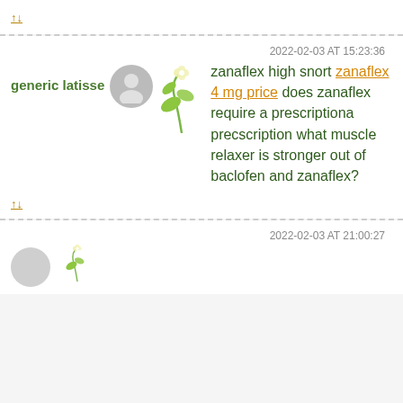↑↓
2022-02-03 AT 15:23:36
generic latisse
zanaflex high snort zanaflex 4 mg price does zanaflex require a prescriptiona precscription what muscle relaxer is stronger out of baclofen and zanaflex?
↑↓
2022-02-03 AT 21:00:27